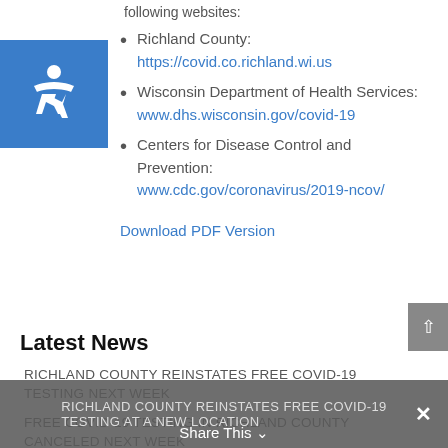following websites:
Richland County: https://covid.co.richland.wi.us
Wisconsin Department of Health Services: www.dhs.wisconsin.gov/covid-19
Centers for Disease Control and Prevention: www.cdc.gov/coronavirus/2019-ncov/
Download PDF Version
Latest News
RICHLAND COUNTY REINSTATES FREE COVID-19 TESTING NEXT WEEK
FREE COVID-19 TESTING IN RICHLAND COUNTY CANCELED NEXT WEEK
RICHLAND COUNTY REINSTATES FREE COVID-19 TESTING AT A NEW LOCATION
Share This